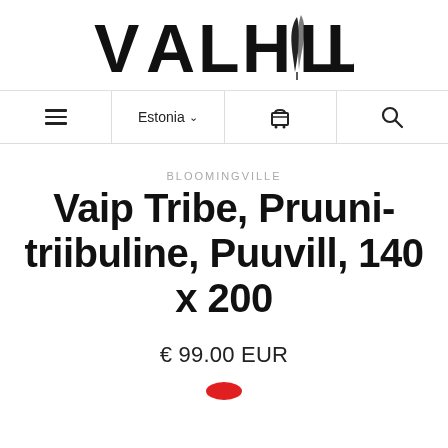VALHALLA
[Figure (screenshot): Navigation bar with hamburger menu, Estonia country selector with dropdown, shopping cart icon, and search icon]
BLOOMINGVILLE
Vaip Tribe, Pruuni-triibuline, Puuvill, 140 x 200
€ 99.00 EUR